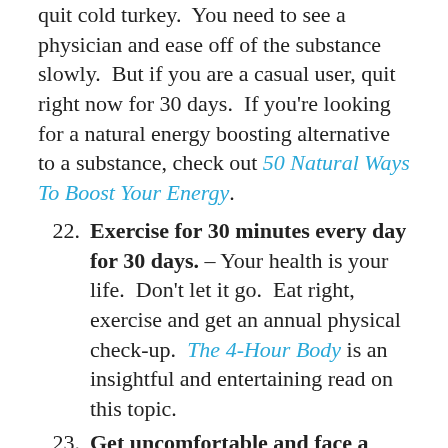quit cold turkey.  You need to see a physician and ease off of the substance slowly.  But if you are a casual user, quit right now for 30 days.  If you're looking for a natural energy boosting alternative to a substance, check out 50 Natural Ways To Boost Your Energy.
22. Exercise for 30 minutes every day for 30 days. – Your health is your life.  Don't let it go.  Eat right, exercise and get an annual physical check-up.  The 4-Hour Body is an insightful and entertaining read on this topic.
23. Get uncomfortable and face a fear every day. – With a strategy of continuous small steps into uncomfortable territory, we are often...